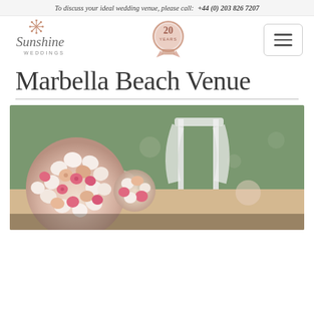To discuss your ideal wedding venue, please call:   +44 (0) 203 826 7207
[Figure (logo): Sunshine Weddings logo with star emblem]
[Figure (illustration): 20 years celebrating badge/ribbon award icon in rose gold]
[Figure (other): Hamburger menu button with three lines]
Marbella Beach Venue
[Figure (photo): Wedding venue decoration with large floral ball arrangements of white, peach, and pink roses in the foreground, with white draped fabric arbor and floral arrangements visible in the soft-focus background along a wedding aisle.]